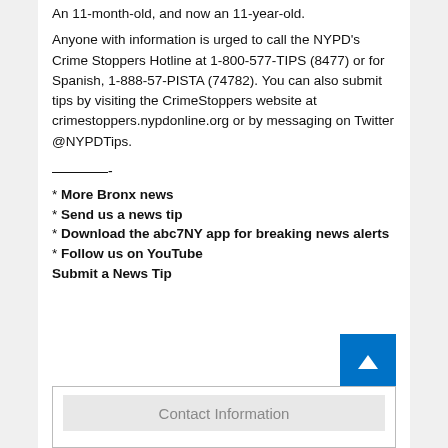An 11-month-old, and now an 11-year-old.
Anyone with information is urged to call the NYPD's Crime Stoppers Hotline at 1-800-577-TIPS (8477) or for Spanish, 1-888-57-PISTA (74782). You can also submit tips by visiting the CrimeStoppers website at crimestoppers.nypdonline.org or by messaging on Twitter @NYPDTips.
————-
* More Bronx news
* Send us a news tip
* Download the abc7NY app for breaking news alerts
* Follow us on YouTube
Submit a News Tip
[Figure (other): Contact Information form box]